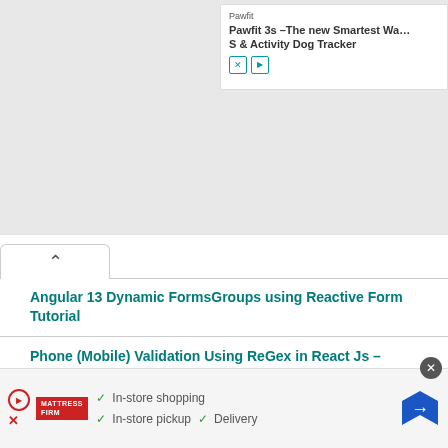[Figure (screenshot): Top advertisement banner for Pawfit showing 'Pawfit 3s - The new Smartest Way GPS & Activity Dog Tracker' with close and play controls]
Angular 13 Dynamic FormsGroups using Reactive Form Tutorial
Phone (Mobile) Validation Using ReGex in React Js – StackBlitz Example
Angular Material 13 Server Side Table Pagination Example
[Figure (screenshot): Bottom advertisement for Mattress Firm showing checkmarks for In-store shopping, In-store pickup, and Delivery with a map icon]